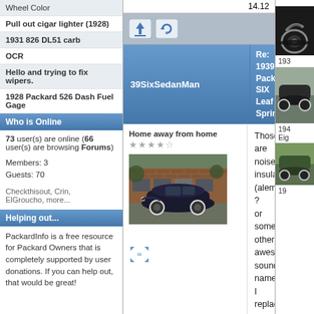Wheel Color
Pull out cigar lighter (1928)
1931 826 DL51 carb
OCR
Hello and trying to fix wipers.
1928 Packard 526 Dash Fuel Gage
Who is Online
73 user(s) are online (66 user(s) are browsing Forums)
Members: 3
Guests: 70
Checkthisout, Crin, ElGroucho, more...
Helping out...
PackardInfo is a free resource for Packard Owners that is completely supported by user donations. If you can help out, that would be great!
14.12
[Figure (screenshot): Navigation icons: upload and refresh/home buttons on blue-grey bar]
39SixSedanMan
Re: 1939 Packard SIX Leaf Springs #2
Home away from home
[Figure (photo): Black 1939 Packard Six sedan parked in front of a brick building]
Those are noise insulators (alemite ? or some other awesome sounding name). I replaced mine with rubber inserts from a local auto garage. Look up the service manual and salesman literature on this site.
[Figure (screenshot): Expand/fullscreen icon (four arrows)]
[Figure (photo): Right sidebar: vintage motorcycle photo (top)]
193
[Figure (photo): Right sidebar: vintage car with white wall tires]
194
Eig
[Figure (photo): Right sidebar: green vintage car]
19